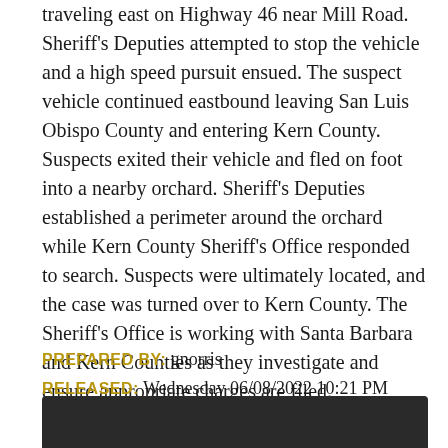traveling east on Highway 46 near Mill Road. Sheriff's Deputies attempted to stop the vehicle and a high speed pursuit ensued. The suspect vehicle continued eastbound leaving San Luis Obispo County and entering Kern County. Suspects exited their vehicle and fled on foot into a nearby orchard. Sheriff's Deputies established a perimeter around the orchard while Kern County Sheriff's Office responded to search. Suspects were ultimately located, and the case was turned over to Kern County. The Sheriff's Office is working with Santa Barbara and Kern Counties as they investigate and ensure appropriate charges are filed.
PREPARED BY: gnorris
RELEASED: Wednesday 06/08/2022 10:21 PM
[Figure (other): Dark footer bar at bottom of page, partially visible]